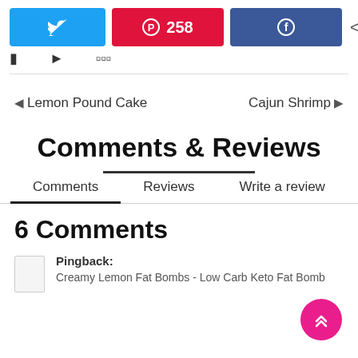[Figure (screenshot): Social sharing buttons row: Twitter (blue), Pinterest with 258 count (red), Facebook (blue), and share count showing 258 SHARES]
◄ Lemon Pound Cake   Cajun Shrimp ►
Comments & Reviews
Comments   Reviews   Write a review
6 Comments
Pingback:
Creamy Lemon Fat Bombs - Low Carb Keto Fat Bomb